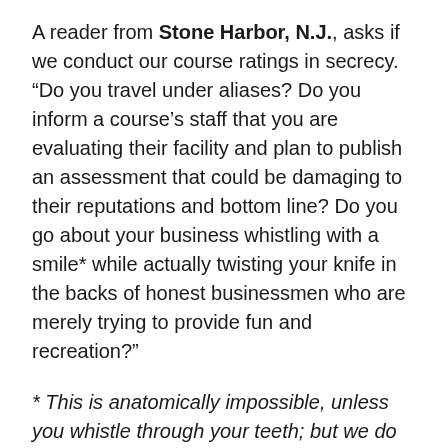A reader from Stone Harbor, N.J., asks if we conduct our course ratings in secrecy. “Do you travel under aliases? Do you inform a course’s staff that you are evaluating their facility and plan to publish an assessment that could be damaging to their reputations and bottom line? Do you go about your business whistling with a smile* while actually twisting your knife in the backs of honest businessmen who are merely trying to provide fun and recreation?”
* This is anatomically impossible, unless you whistle through your teeth; but we do try to project a certain cheeriness.
The e-mail is signed “Diogenes,” so I assume the writer is Greek. And before I address the substance of his letter, I’d just like to say how sorry I am about his country’s sovereign debt crisis and for the shocking deterioration of